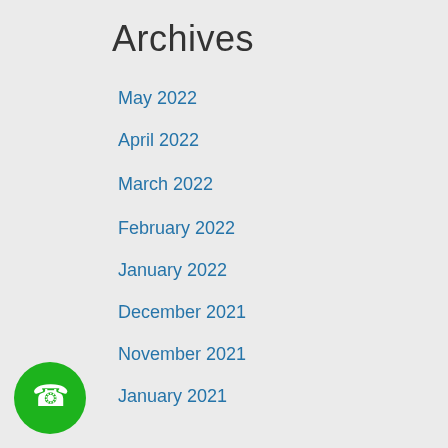Archives
May 2022
April 2022
March 2022
February 2022
January 2022
December 2021
November 2021
January 2021
December 2020
November 2020
October 2020
September 2020
February 2020
[Figure (illustration): Green circular phone/call button icon in bottom-left corner]